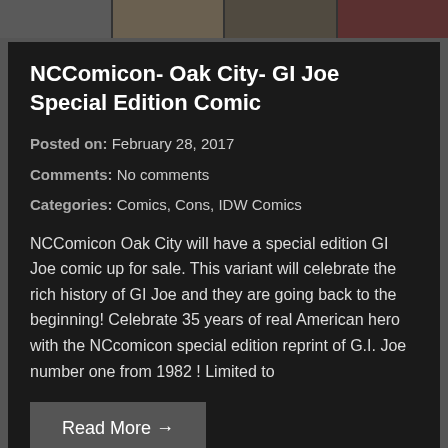[Figure (photo): Top strip of comic book cover images]
NCComicon- Oak City- GI Joe Special Edition Comic
Posted on: February 28, 2017
Comments: No comments
Categories: Comics, Cons, IDW Comics
NCComicon Oak City will have a special edition GI Joe comic up for sale. This variant will celebrate the rich history of GI Joe and they are going back to the beginning!  Celebrate 35 years of real American hero with the NCcomicon special edition reprint of G.I. Joe number one from 1982 ! Limited to
Read More →